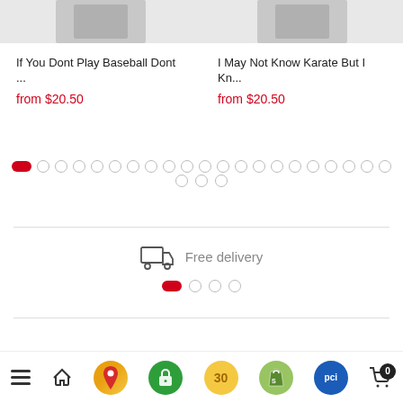If You Dont Play Baseball Dont ...
from $20.50
I May Not Know Karate But I Kn...
from $20.50
[Figure (infographic): Carousel pagination dots: one active red pill followed by many inactive grey circles]
[Figure (infographic): Horizontal divider line]
[Figure (infographic): Free delivery icon with truck and text]
[Figure (infographic): Secondary carousel dots: one active red pill and three inactive circles]
[Figure (infographic): Bottom navigation bar with hamburger menu, home icon, map pin, lock, 30-day badge, Shopify bag, PCI badge, and cart with 0 badge]